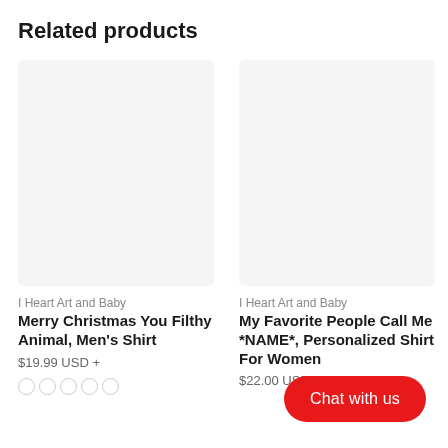Related products
[Figure (photo): Product image placeholder for Merry Christmas You Filthy Animal Men's Shirt]
I Heart Art and Baby
Merry Christmas You Filthy Animal, Men's Shirt
$19.99 USD +
[Figure (photo): Product image placeholder for My Favorite People Call Me *NAME*, Personalized Shirt For Women]
I Heart Art and Baby
My Favorite People Call Me *NAME*, Personalized Shirt For Women
$22.00 USD +
Chat with us